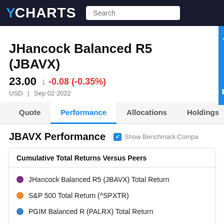YCHARTS
JHancock Balanced R5 (JBAVX)
23.00  ↓ -0.08 (-0.35%)
USD  |  Sep 02 2022
Quote  Performance  Allocations  Holdings  Ho...
JBAVX Performance
Show Benchmark Compa...
| Cumulative Total Returns Versus Peers |
| --- |
| JHancock Balanced R5 (JBAVX) Total Return |
| S&P 500 Total Return (^SPXTR) |
| PGIM Balanced R (PALRX) Total Return |
| Touchstone Balanced R6 (TBARX) Total Return |
| Federated Hermes MDT Balanced R6 (QKBGX) Tot |